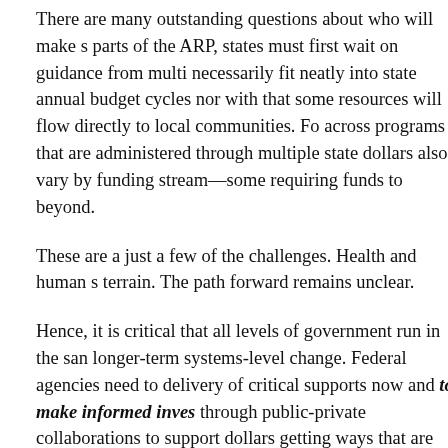There are many outstanding questions about who will make s... parts of the ARP, states must first wait on guidance from multi... necessarily fit neatly into state annual budget cycles nor with ... that some resources will flow directly to local communities. Fo... across programs that are administered through multiple state ... dollars also vary by funding stream—some requiring funds to ... beyond.
These are a just a few of the challenges. Health and human s... terrain. The path forward remains unclear.
Hence, it is critical that all levels of government run in the san... longer-term systems-level change. Federal agencies need to ... delivery of critical supports now and to make informed inves... through public-private collaborations to support dollars getting... ways that are human-centered and have impact for everyone ... new needs or barriers arise. This is a comprehensive govern... channels for everyone to solve problems and co-create togeth...